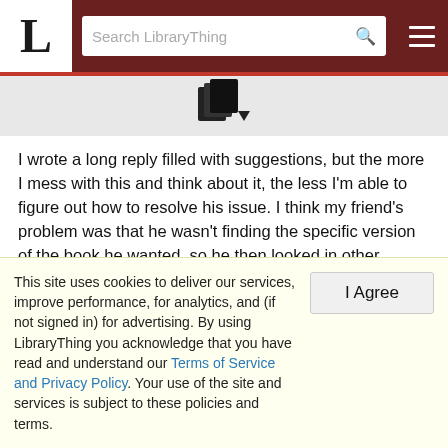L | Search LibraryThing
[Figure (other): LibraryThing book/file icon with dropdown arrow]
I wrote a long reply filled with suggestions, but the more I mess with this and think about it, the less I'm able to figure out how to resolve his issue. I think my friend's problem was that he wasn't finding the specific version of the book he wanted, so he then looked in other libraries.
I guess if it were me, I would have just manually entered it... everything I came up with for roll-over searches, either going through every library or just through ones added to "Search
This site uses cookies to deliver our services, improve performance, for analytics, and (if not signed in) for advertising. By using LibraryThing you acknowledge that you have read and understand our Terms of Service and Privacy Policy. Your use of the site and services is subject to these policies and terms.